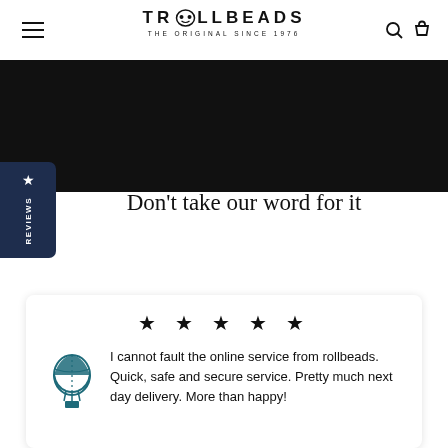TROLLBEADS — THE ORIGINAL SINCE 1976
[Figure (photo): Black banner image area]
Don't take our word for it
★ ★ ★ ★ ★
I cannot fault the online service from rollbeads. Quick, safe and secure service. Pretty much next day delivery. More than happy!